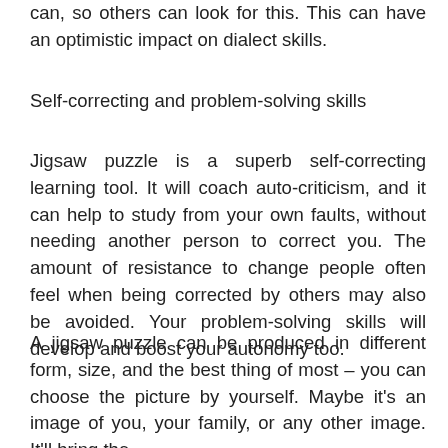can, so others can look for this. This can have an optimistic impact on dialect skills.
Self-correcting and problem-solving skills
Jigsaw puzzle is a superb self-correcting learning tool. It will coach auto-criticism, and it can help to study from your own faults, without needing another person to correct you. The amount of resistance to change people often feel when being corrected by others may also be avoided. Your problem-solving skills will develop and boost your autonomy too.
A jigsaw puzzle can be produced in different form, size, and the best thing of most – you can choose the picture by yourself. Maybe it's an image of you, your family, or any other image. It'll bring the